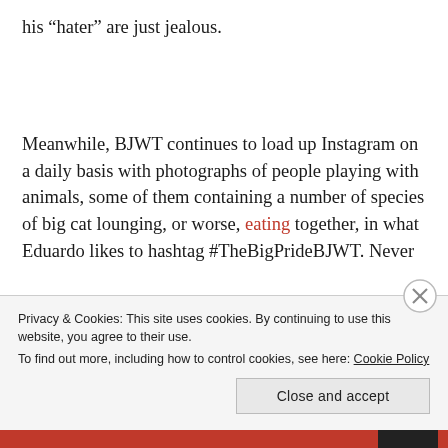his “hater” are just jealous.
Meanwhile, BJWT continues to load up Instagram on a daily basis with photographs of people playing with animals, some of them containing a number of species of big cat lounging, or worse, eating together, in what Eduardo likes to hashtag #TheBigPrideBJWT. Never
Privacy & Cookies: This site uses cookies. By continuing to use this website, you agree to their use.
To find out more, including how to control cookies, see here: Cookie Policy
Close and accept